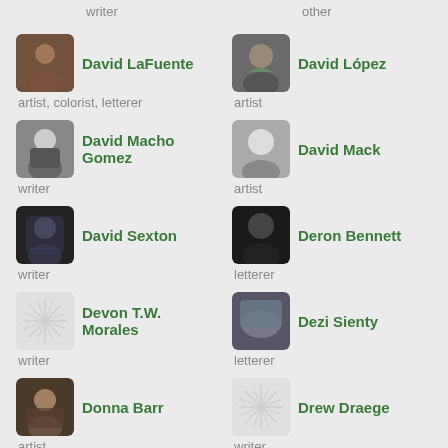writer
other
David LaFuente — artist, colorist, letterer
David López — artist
David Macho Gomez — writer
David Mack — artist
David Sexton — writer
Deron Bennett — letterer
Devon T.W. Morales — writer
Dezi Sienty — letterer
Donna Barr — artist
Drew Draege — writer
Ed Brisson — letterer
Ed Luce — artist, writer
Eddie Gorodetsky
Elayne Riggs